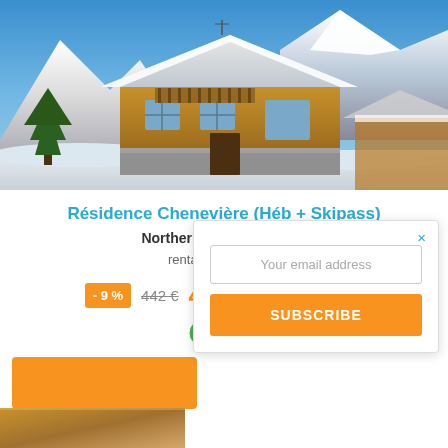[Figure (photo): Wooden alpine chalet covered in snow with snowy mountains in background under blue sky]
Résidence Chenevière (Héb + Skipass)
Northern Alps - Val cenis
rental for 5 persons
- 9 %  442 €  401 €  TRAVELSKI
10/10
Your email address
SUBSCRIBE